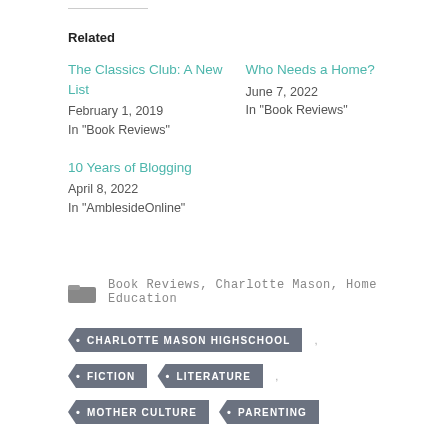Related
The Classics Club: A New List
February 1, 2019
In "Book Reviews"
Who Needs a Home?
June 7, 2022
In "Book Reviews"
10 Years of Blogging
April 8, 2022
In "AmblesideOnline"
Book Reviews, Charlotte Mason, Home Education
CHARLOTTE MASON HIGHSCHOOL
FICTION
LITERATURE
MOTHER CULTURE
PARENTING